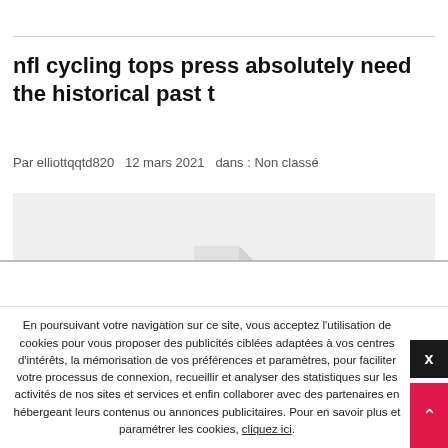nfl cycling tops press absolutely need the historical past t
Par elliottqqtd820   12 mars 2021   dans : Non classé
[Figure (illustration): Gray placeholder box with a document icon in the center]
En poursuivant votre navigation sur ce site, vous acceptez l'utilisation de cookies pour vous proposer des publicités ciblées adaptées à vos centres d'intérêts, la mémorisation de vos préférences et paramètres, pour faciliter votre processus de connexion, recueillir et analyser des statistiques sur les activités de nos sites et services et enfin collaborer avec des partenaires en hébergeant leurs contenus ou annonces publicitaires. Pour en savoir plus et paramétrer les cookies, cliquez ici.